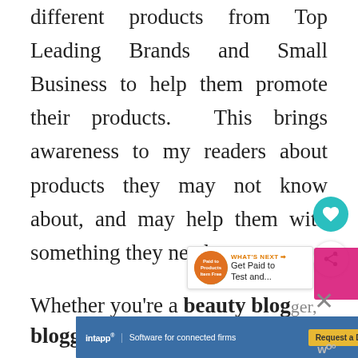different products from Top Leading Brands and Small Business to help them promote their products. This brings awareness to my readers about products they may not know about, and may help them with something they need.
[Figure (illustration): Teal circular heart button icon on right side]
[Figure (illustration): Share button icon and pink shape with 'WHAT'S NEXT' promo badge showing 'Get Paid to Test and...' with circular image]
Whether you're a beauty blogger, fashion blogger, or mommy blogger, companies are looking...
[Figure (screenshot): Intapp advertisement banner: 'Software for connected firms' with 'Request a Demo' button]